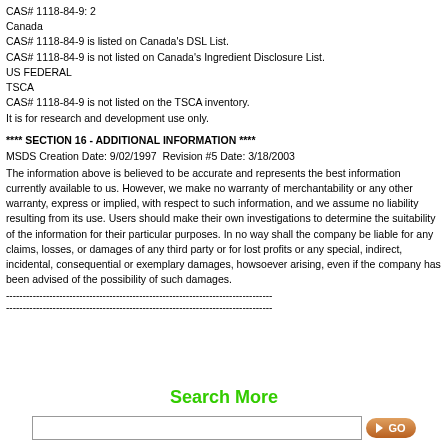CAS# 1118-84-9: 2
Canada
CAS# 1118-84-9 is listed on Canada's DSL List.
CAS# 1118-84-9 is not listed on Canada's Ingredient Disclosure List.
US FEDERAL
TSCA
CAS# 1118-84-9 is not listed on the TSCA inventory.
It is for research and development use only.
**** SECTION 16 - ADDITIONAL INFORMATION ****
MSDS Creation Date: 9/02/1997 Revision #5 Date: 3/18/2003
The information above is believed to be accurate and represents the best information currently available to us. However, we make no warranty of merchantability or any other warranty, express or implied, with respect to such information, and we assume no liability resulting from its use. Users should make their own investigations to determine the suitability of the information for their particular purposes. In no way shall the company be liable for any claims, losses, or damages of any third party or for lost profits or any special, indirect, incidental, consequential or exemplary damages, howsoever arising, even if the company has been advised of the possibility of such damages.
--------------------------------------------------------------------------------
--------------------------------------------------------------------------------
Search More
GO